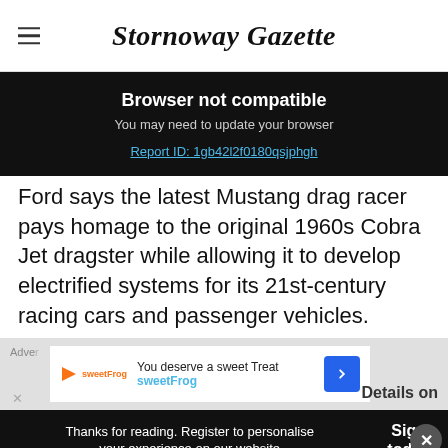Stornoway Gazette
Browser not compatible
You may need to update your browser
Report ID: 1gb42l2f0180qsjphgh
Ford says the latest Mustang drag racer pays homage to the original 1960s Cobra Jet dragster while allowing it to develop electrified systems for its 21st-century racing cars and passenger vehicles.
[Figure (infographic): Advertisement banner for sweetFrog: 'You deserve a sweet Treat sweetFrog' with logo and blue diamond navigation icon]
Thanks for reading. Register to personalise your experience on our website  Sign in today